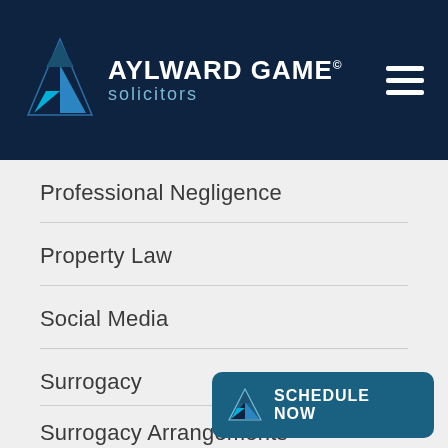AYLWARD GAME solicitors
Professional Negligence
Property Law
Social Media
Surrogacy
Surrogacy Arrangements